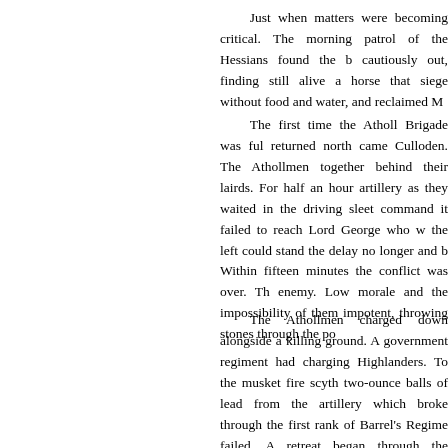Just when matters were becoming critical. The morning patrol of the Hessians found the b cautiously out, finding still alive a horse that siege without food and water, and reclaimed M
The first time the Atholl Brigade was ful returned north came Culloden. The Athollmen together behind their lairds. For half an hour artillery as they waited in the driving sleet command it failed to reach Lord George who w the left could stand the delay no longer and b Within fifteen minutes the conflict was over. Th enemy. Low morale and the impossibility of them impotent, throwing stones through the po
The Athollmen charged down alongside a killing ground. A government regiment had charging Highlanders. To the musket fire scyth two-ounce balls of lead from the artillery which broke through the first rank of Barrel's Regime failed. A retreat began through the additional m field wall.
Bar the casualties to the Jacobites as th occurred on the right wing. Some three hun hundred dead and wounded Highlanders litte badly injured to crawl or be helped from the fie
It took nearly a week before the results of